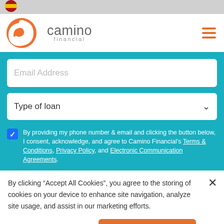[Figure (logo): Camino Financial logo with orange swoosh icon and text 'camino financial']
Email Address
Type of loan
By providing my phone number & email and clicking the button below, I consent, acknowledge, and agree to Camino Financial's Terms & Conditions, Privacy Policy, and Electronic Communication Agreements.
By clicking “Accept All Cookies”, you agree to the storing of cookies on your device to enhance site navigation, analyze site usage, and assist in our marketing efforts.
Cookie Settings
Accept All Cookies